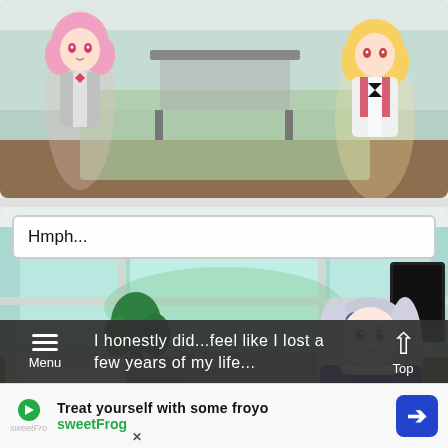[Figure (screenshot): Visual novel screenshot: two anime characters in a classroom/room scene. Left character has pink hair and grey vest with bow tie. Right character has blonde hair and wears a red school uniform. Room has a table and tatami-style floor.]
[Figure (screenshot): Visual novel screenshot: living room scene with a silver-haired anime character in maid-like outfit on the right side. Room has a sofa, plant, large windows, and a coffee table. Dialog box at top shows text 'Hmph...']
Hmph...
[Figure (screenshot): Partial third screenshot of the same living room scene, partially obscured by navigation bar overlay.]
I honestly did...feel like I lost a few years of my life...
Menu
Top
Treat yourself with some froyo
sweetFrog